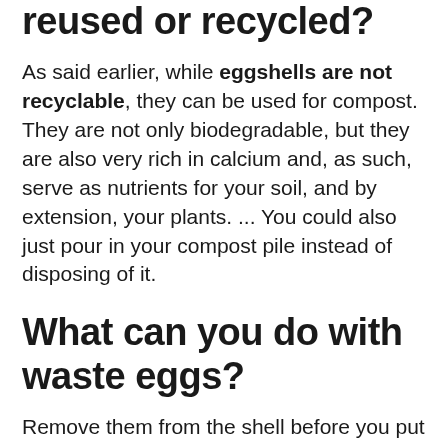reused or recycled?
As said earlier, while eggshells are not recyclable, they can be used for compost. They are not only biodegradable, but they are also very rich in calcium and, as such, serve as nutrients for your soil, and by extension, your plants. ... You could also just pour in your compost pile instead of disposing of it.
What can you do with waste eggs?
Remove them from the shell before you put them in the ground. Then crush the eggshells and put them in your compost